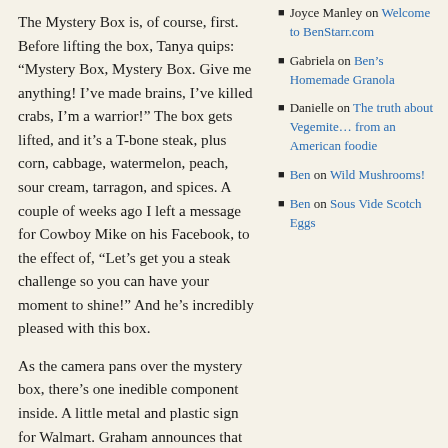The Mystery Box is, of course, first.  Before lifting the box, Tanya quips: “Mystery Box, Mystery Box.  Give me anything!  I’ve made brains, I’ve killed crabs, I’m a warrior!”  The box gets lifted, and it’s a T-bone steak, plus corn, cabbage, watermelon, peach, sour cream, tarragon, and spices.  A couple of weeks ago I left a message for Cowboy Mike on his Facebook, to the effect of, “Let’s get you a steak challenge so you can have your moment to shine!”  And he’s incredibly pleased with this box.
As the camera pans over the mystery box, there’s one inedible component inside.  A little metal and plastic sign for Walmart.  Graham announces that all that stuff under the mystery box costs less than $15, collectively, at Walmart, but that the contestants’ job is to turn it into a restaurant dish that could be billed at $40.
Of course I’m immediately pulled out of the show as
Joyce Manley on Welcome to BenStarr.com
Gabriela on Ben’s Homemade Granola
Danielle on The truth about Vegemite… from an American foodie
Ben on Wild Mushrooms!
Ben on Sous Vide Scotch Eggs